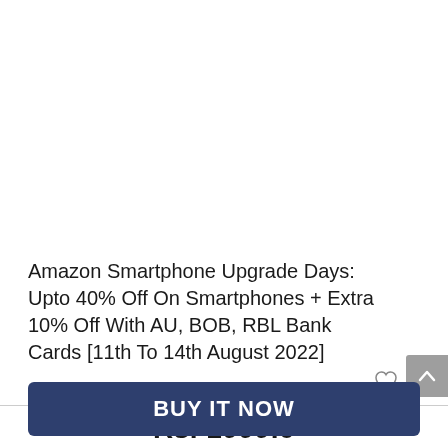Amazon Smartphone Upgrade Days: Upto 40% Off On Smartphones + Extra 10% Off With AU, BOB, RBL Bank Cards [11th To 14th August 2022]
Rs. 1999.0
BUY IT NOW